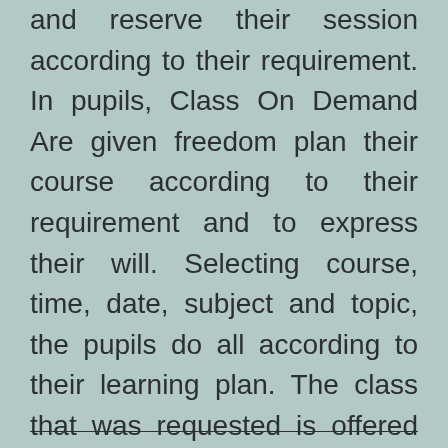and reserve their session according to their requirement. In pupils, Class On Demand Are given freedom plan their course according to their requirement and to express their will. Selecting course, time, date, subject and topic, the pupils do all according to their learning plan. The class that was requested is offered to the pupils. Personalized session of Class on Demand makes the session beneficial for your pupils.